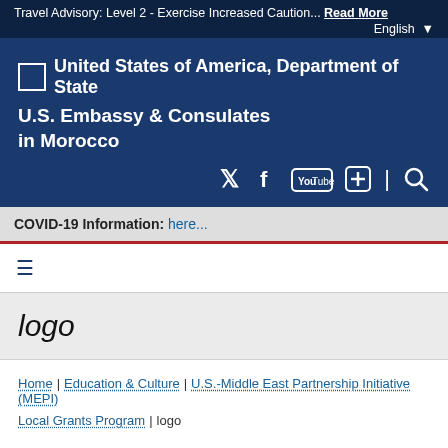Travel Advisory: Level 2 - Exercise Increased Caution...  Read More  English
[Figure (logo): United States of America, Department of State logo placeholder]
U.S. Embassy & Consulates in Morocco
[Figure (infographic): Social media icons: Twitter, Facebook, YouTube, plus, search]
COVID-19 Information: here...
≡ hamburger menu icon
logo
Home | Education & Culture | U.S.-Middle East Partnership Initiative (MEPI) | Local Grants Program | logo